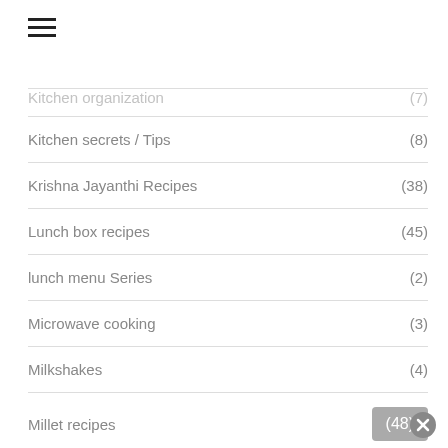Kitchen organization (7)
Kitchen secrets / Tips (8)
Krishna Jayanthi Recipes (38)
Lunch box recipes (45)
lunch menu Series (2)
Microwave cooking (3)
Milkshakes (4)
Millet recipes (48)
Navarathri Recipes (27)